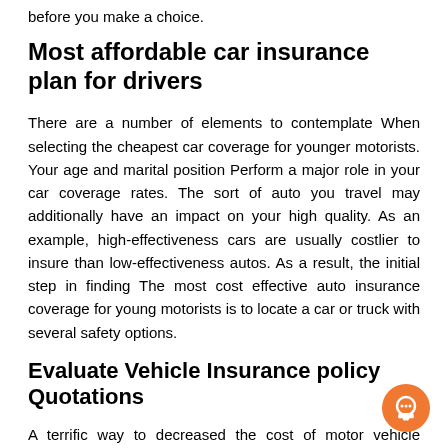before you make a choice.
Most affordable car insurance plan for drivers
There are a number of elements to contemplate When selecting the cheapest car coverage for younger motorists. Your age and marital position Perform a major role in your car coverage rates. The sort of auto you travel may additionally have an impact on your high quality. As an example, high-effectiveness cars are usually costlier to insure than low-effectiveness autos. As a result, the initial step in finding The most cost effective auto insurance coverage for young motorists is to locate a car or truck with several safety options.
Evaluate Vehicle Insurance policy Quotations
A terrific way to decreased the cost of motor vehicle insurance policy for younger drivers is to reduced the